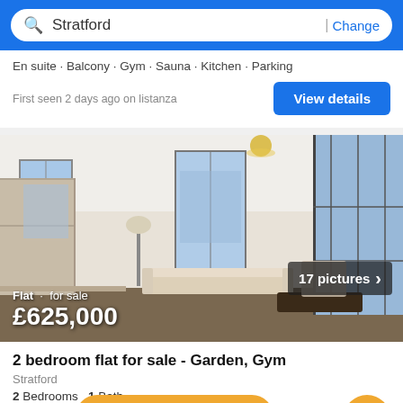Stratford | Change
En suite · Balcony · Gym · Sauna · Kitchen · Parking
First seen 2 days ago on listanza
View details
[Figure (photo): Interior photo of a modern flat/apartment showing open-plan living room and kitchen area with floor-to-ceiling windows overlooking a city skyline. Light-coloured sofa, dark wood floor, pendant ceiling light, modern kitchen cabinetry on left.]
Flat · for sale
£625,000
17 pictures
2 bedroom flat for sale - Garden, Gym
Stratford
2 Bedrooms  1 Bath
Garden · Gym · Porter
Filter